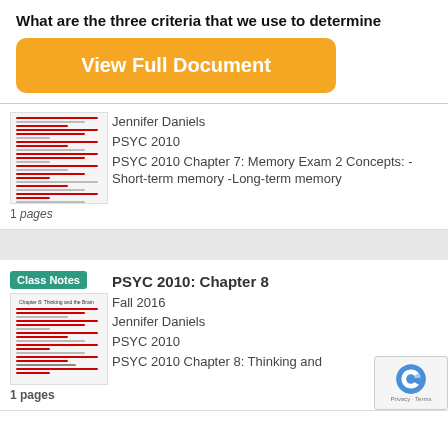What are the three criteria that we use to determine
[Figure (screenshot): Orange button labeled 'View Full Document']
[Figure (screenshot): Document thumbnail showing class notes with red text lines]
Jennifer Daniels
PSYC 2010
PSYC 2010 Chapter 7: Memory Exam 2 Concepts: -Short-term memory -Long-term memory
1 pages
[Figure (screenshot): Class Notes badge and document thumbnail for Chapter 8]
PSYC 2010: Chapter 8
Fall 2016
Jennifer Daniels
PSYC 2010
1 pages
PSYC 2010 Chapter 8: Thinking and